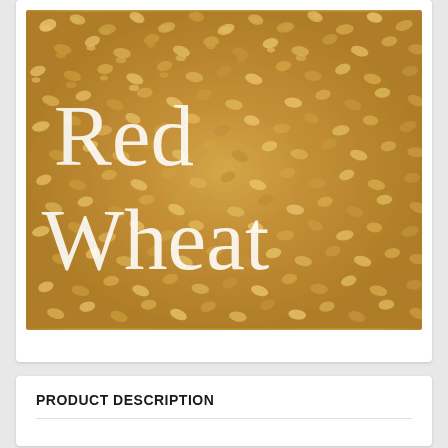[Figure (photo): Close-up photo of red wheat grains with the text 'Red Wheat' overlaid in large white serif font]
PRODUCT DESCRIPTION